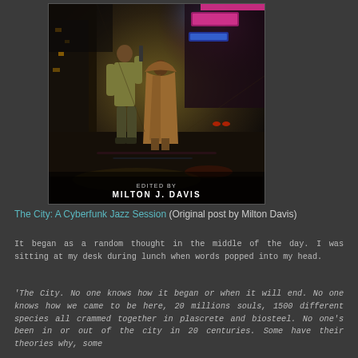[Figure (illustration): Book cover illustration showing two figures walking in a dark cyberpunk alley with neon lights. Text at bottom reads 'EDITED BY MILTON J. DAVIS']
The City: A Cyberfunk Jazz Session (Original post by Milton Davis)
It began as a random thought in the middle of the day. I was sitting at my desk during lunch when words popped into my head.
'The City. No one knows how it began or when it will end. No one knows how we came to be here, 20 millions souls, 1500 different species all crammed together in plascrete and biosteel. No one's been in or out of the city in 20 centuries. Some have their theories why, some